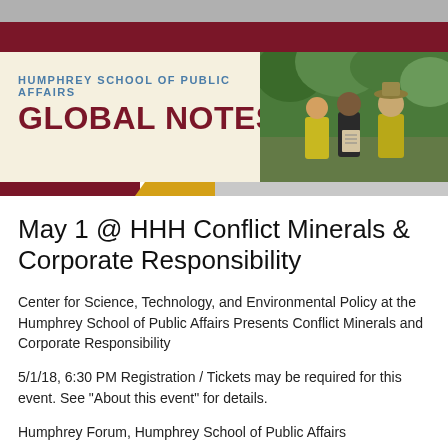[Figure (photo): Humphrey School of Public Affairs Global Notes banner with photo of three researchers in high-visibility vests outdoors reviewing documents]
May 1 @ HHH Conflict Minerals & Corporate Responsibility
Center for Science, Technology, and Environmental Policy at the Humphrey School of Public Affairs Presents Conflict Minerals and Corporate Responsibility
5/1/18, 6:30 PM Registration / Tickets may be required for this event. See "About this event" for details.
Humphrey Forum, Humphrey School of Public Affairs